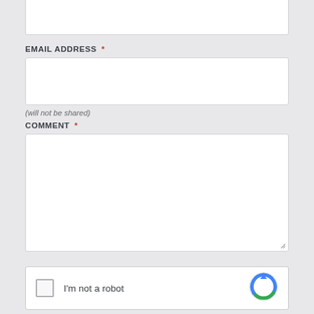[Figure (screenshot): Empty text input box (first field, partially cropped at top)]
EMAIL ADDRESS *
[Figure (screenshot): Empty email address input box]
(will not be shared)
COMMENT *
[Figure (screenshot): Large empty comment textarea with resize handle]
[Figure (screenshot): reCAPTCHA widget with checkbox and 'I'm not a robot' text]